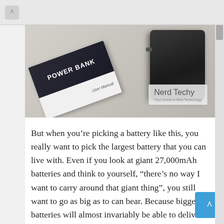[Figure (photo): Photo of a power bank device and its user manual booklet on a light surface, with 'Nerd Techy — Your Guide to New Technology' watermark in the lower right of the image.]
But when you're picking a battery like this, you really want to pick the largest battery that you can live with. Even if you look at giant 27,000mAh batteries and think to yourself, “there’s no way I want to carry around that giant thing”, you still want to go as big as to can bear. Because bigger batteries will almost invariably be able to deliver better performance, or at least a higher capacity